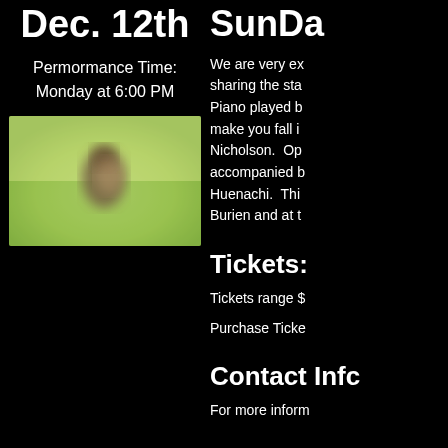Dec. 12th
Permormance Time:
Monday at 6:00 PM
[Figure (photo): Blurred outdoor photo of a person or animal in a green grassy field]
SunDa…
We are very ex… sharing the sta… Piano played b… make you fall i… Nicholson. Op… accompanied b… Huenachi. Thi… Burien and at t…
Tickets:
Tickets range $…
Purchase Ticke…
Contact Info…
For more inform…